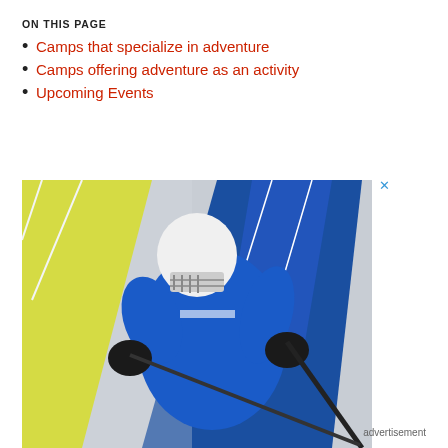ON THIS PAGE
Camps that specialize in adventure
Camps offering adventure as an activity
Upcoming Events
[Figure (photo): Hockey player in blue jersey and white helmet holding a stick, against yellow and blue geometric background, with text 'BE ACTIVE.' in white and yellow on black bar at bottom. Advertisement banner.]
advertisement